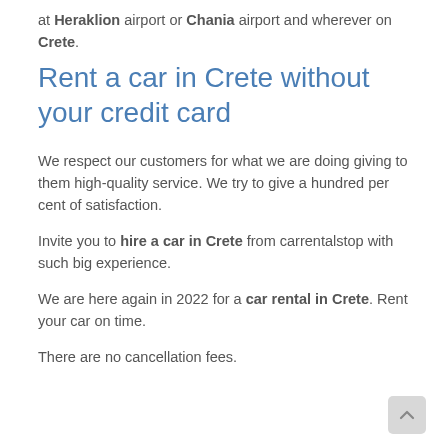at Heraklion airport or Chania airport and wherever on Crete.
Rent a car in Crete without your credit card
We respect our customers for what we are doing giving to them high-quality service. We try to give a hundred per cent of satisfaction.
Invite you to hire a car in Crete from carrentalstop with such big experience.
We are here again in 2022 for a car rental in Crete. Rent your car on time.
There are no cancellation fees.